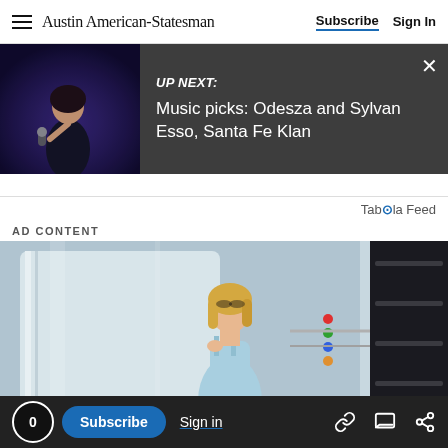Austin American-Statesman | Subscribe | Sign In
[Figure (screenshot): Up Next promotional banner with thumbnail of a performer singing into a microphone, dark background. Text: UP NEXT: Music picks: Odesza and Sylvan Esso, Santa Fe Klan]
Taboola Feed
AD CONTENT
[Figure (photo): A woman with blonde hair wearing a light blue top standing near large industrial or commercial equipment, possibly refrigerators or storage units.]
0 | Subscribe | Sign in